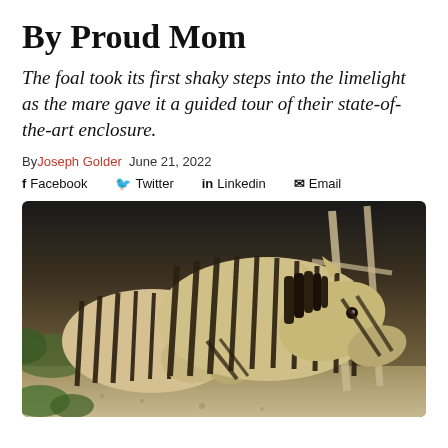By Proud Mom
The foal took its first shaky steps into the limelight as the mare gave it a guided tour of their state-of-the-art enclosure.
By Joseph Golder  June 21, 2022
f Facebook   Twitter   in Linkedin   Email
[Figure (photo): Two zebras side by side — a smaller foal and a larger mare — standing in a zoo enclosure with a wooden fence visible in the background.]